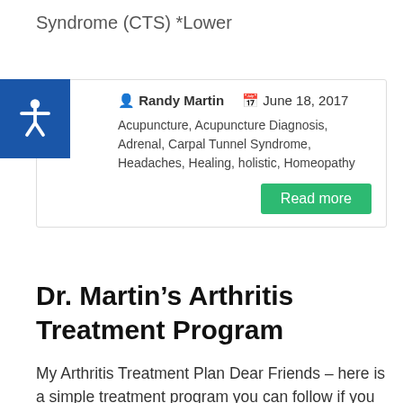Syndrome (CTS) *Lower
Randy Martin   June 18, 2017
Acupuncture, Acupuncture Diagnosis, Adrenal, Carpal Tunnel Syndrome, Headaches, Healing, holistic, Homeopathy
Read more
Dr. Martin's Arthritis Treatment Program
My Arthritis Treatment Plan Dear Friends – here is a simple treatment program you can follow if you or your loved ones have arthritis pain. Remember I'm always here to answer any health related questions you may have. Photo thanks
Randy Martin   June 1, 2017